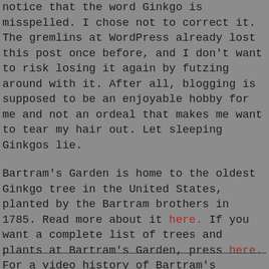notice that the word Ginkgo is misspelled. I chose not to correct it. The gremlins at WordPress already lost this post once before, and I don't want to risk losing it again by futzing around with it. After all, blogging is supposed to be an enjoyable hobby for me and not an ordeal that makes me want to tear my hair out. Let sleeping Ginkgos lie.
Bartram's Garden is home to the oldest Ginkgo tree in the United States, planted by the Bartram brothers in 1785. Read more about it here. If you want a complete list of trees and plants at Bartram's Garden, press here. For a video history of Bartram's Garden, press here. If you would like to visit, which I heartily recommend, press here.